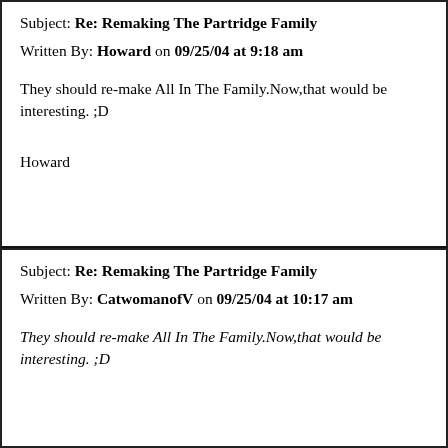Subject: Re: Remaking The Partridge Family
Written By: Howard on 09/25/04 at 9:18 am
They should re-make All In The Family.Now,that would be interesting. ;D
Howard
Subject: Re: Remaking The Partridge Family
Written By: CatwomanofV on 09/25/04 at 10:17 am
They should re-make All In The Family.Now,that would be interesting. ;D